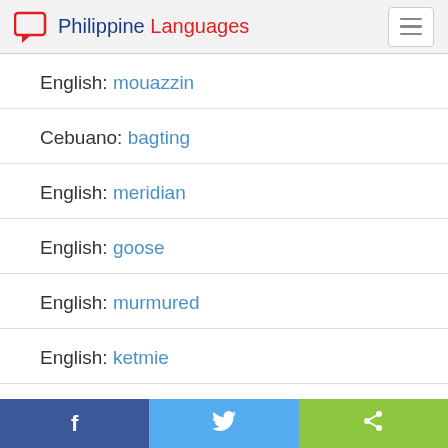Philippine Languages
English: mouazzin
Cebuano: bagting
English: meridian
English: goose
English: murmured
English: ketmie
Facebook | Twitter | Share